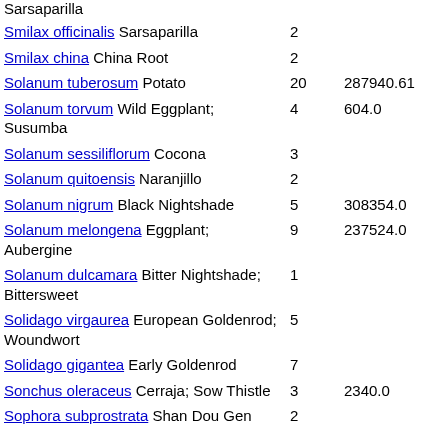Sarsaparilla
Smilax officinalis Sarsaparilla 2
Smilax china China Root 2
Solanum tuberosum Potato 20 287940.61
Solanum torvum Wild Eggplant; Susumba 4 604.0
Solanum sessiliflorum Cocona 3
Solanum quitoensis Naranjillo 2
Solanum nigrum Black Nightshade 5 308354.0
Solanum melongena Eggplant; Aubergine 9 237524.0
Solanum dulcamara Bitter Nightshade; Bittersweet 1
Solidago virgaurea European Goldenrod; Woundwort 5
Solidago gigantea Early Goldenrod 7
Sonchus oleraceus Cerraja; Sow Thistle 3 2340.0
Sophora subprostrata Shan Dou Gen 2